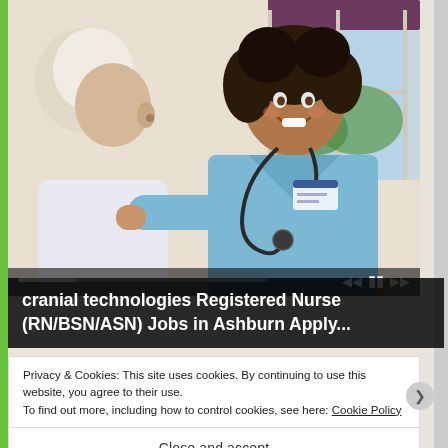[Figure (photo): A smiling female nurse in blue scrubs with a stethoscope attends to an elderly white-haired patient. They appear to be in a clinical or home care setting with a window in the background.]
cranial technologies Registered Nurse (RN/BSN/ASN) Jobs in Ashburn Apply...
Privacy & Cookies: This site uses cookies. By continuing to use this website, you agree to their use.
To find out more, including how to control cookies, see here: Cookie Policy
Close and accept